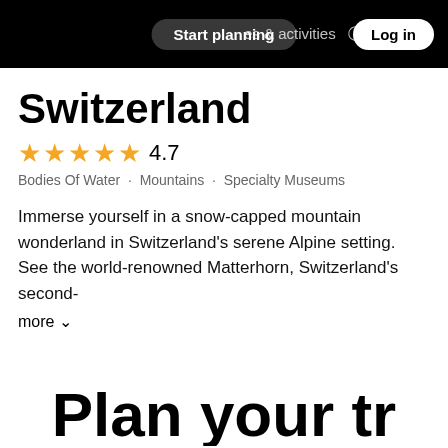Start planning | places & activities | Log in
Switzerland
★★★★★ 4.7
Bodies Of Water · Mountains · Specialty Museums
Immerse yourself in a snow-capped mountain wonderland in Switzerland's serene Alpine setting. See the world-renowned Matterhorn, Switzerland's second-
more ∨
Plan your tr